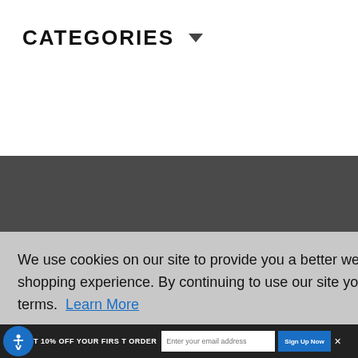CATEGORIES
JOIN OUR NEWSLETTER
We use cookies on our site to provide you a better web and shopping experience. By continuing to use our site you agree to the terms.  Learn More
I AGREE
GET 10% OFF YOUR FIRST ORDER  Sign Up Now